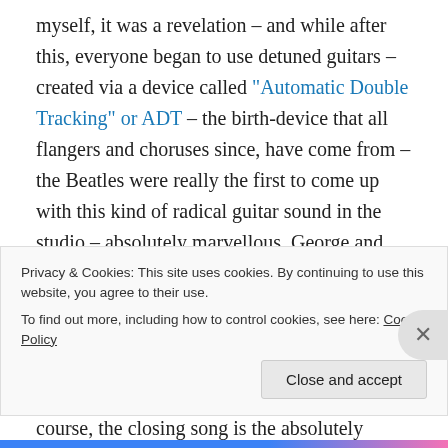myself, it was a revelation – and while after this, everyone began to use detuned guitars – created via a device called "Automatic Double Tracking" or ADT – the birth-device that all flangers and choruses since, have come from – the Beatles were really the first to come up with this kind of radical guitar sound in the studio – absolutely marvellous. George and John begin to experiment with truly distorted and detuned sounds after seeing Jimi Hendrix perform – and you can hear it on tracks such as the reprise version of the title track – the lead guitars are really powerful.  And of course, the closing song is the absolutely unbelievably
Privacy & Cookies: This site uses cookies. By continuing to use this website, you agree to their use.
To find out more, including how to control cookies, see here: Cookie Policy
Close and accept